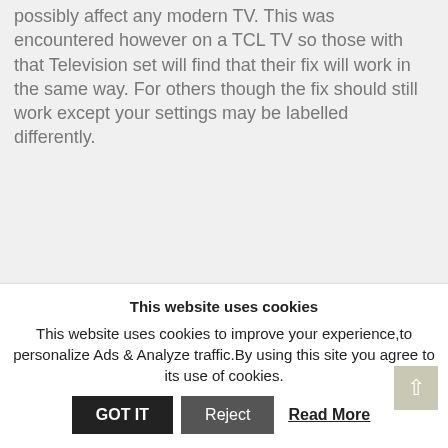possibly affect any modern TV. This was encountered however on a TCL TV so those with that Television set will find that their fix will work in the same way. For others though the fix should still work except your settings may be labelled differently.
TCL TV Video stretched off screen Fix
1. Hit the menu button from the Remote or the TV...
This website uses cookies
This website uses cookies to improve your experience,to personalize Ads & Analyze traffic.By using this site you agree to its use of cookies.